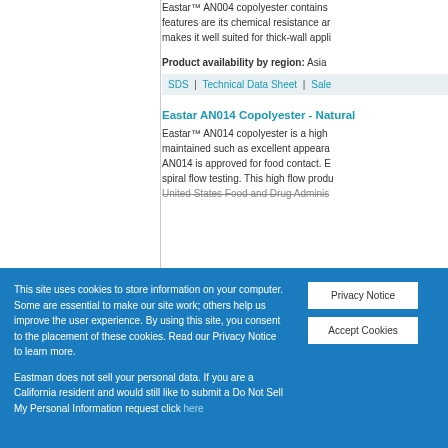Eastar™ AN004 copolyester contains features are its chemical resistance and makes it well suited for thick-wall applications
Product availability by region: Asia
SDS | Technical Data Sheet | Sale
Eastar AN014 Copolyester - Natural
Eastar™ AN014 copolyester is a high maintained such as excellent appearance. AN014 is approved for food contact. E spiral flow testing. This high flow product United States Food and Drug Administration
This site uses cookies to store information on your computer. Some are essential to make our site work; others help us improve the user experience. By using this site, you consent to the placement of these cookies. Read our Privacy Notice to learn more.

Eastman does not sell your personal data. If you are a California resident and would still like to submit a Do Not Sell My Personal Information request click here